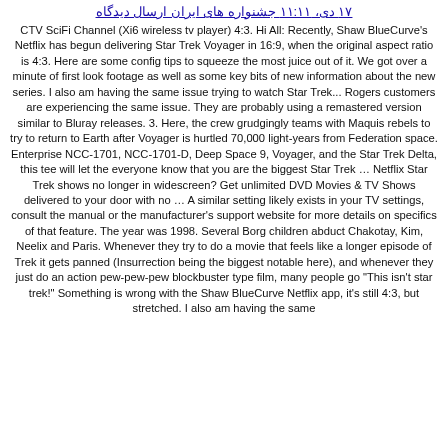۱۷ دی، ۱۱:۱۱ جشنواره های ایران ارسال دیدگاه
CTV SciFi Channel (Xi6 wireless tv player) 4:3. Hi All: Recently, Shaw BlueCurve's Netflix has begun delivering Star Trek Voyager in 16:9, when the original aspect ratio is 4:3. Here are some config tips to squeeze the most juice out of it. We got over a minute of first look footage as well as some key bits of new information about the new series. I also am having the same issue trying to watch Star Trek... Rogers customers are experiencing the same issue. They are probably using a remastered version similar to Bluray releases. 3. Here, the crew grudgingly teams with Maquis rebels to try to return to Earth after Voyager is hurtled 70,000 light-years from Federation space. Enterprise NCC-1701, NCC-1701-D, Deep Space 9, Voyager, and the Star Trek Delta, this tee will let the everyone know that you are the biggest Star Trek … Netflix Star Trek shows no longer in widescreen? Get unlimited DVD Movies & TV Shows delivered to your door with no … A similar setting likely exists in your TV settings, consult the manual or the manufacturer's support website for more details on specifics of that feature. The year was 1998. Several Borg children abduct Chakotay, Kim, Neelix and Paris. Whenever they try to do a movie that feels like a longer episode of Trek it gets panned (Insurrection being the biggest notable here), and whenever they just do an action pew-pew-pew blockbuster type film, many people go "This isn't star trek!" Something is wrong with the Shaw BlueCurve Netflix app, it's still 4:3, but stretched. I also am having the same